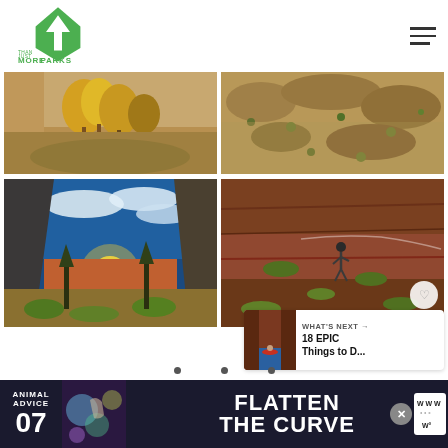[Figure (logo): More Than Just Parks logo — green arrowhead/tree shape above text reading MORE THAN JUST PARKS]
[Figure (photo): Desert landscape with golden autumn cottonwood trees against sandy rock and scrub terrain]
[Figure (photo): Aerial view of desert scrubland with reddish-brown sandy soil and scattered low vegetation]
[Figure (photo): Canyon valley at sunset with rocky cliffs, pine trees, and glowing golden sunlight on the horizon]
[Figure (photo): Hiker on red rock face with green shrubs and canyon terrain; heart/like button and share button overlaid]
[Figure (infographic): What's Next panel: thumbnail of red canyon kayaking scene with text '18 EPIC Things to D...']
[Figure (infographic): Advertisement banner: Animal Advice 07 Flatten the Curve with colorful graphic and close button]